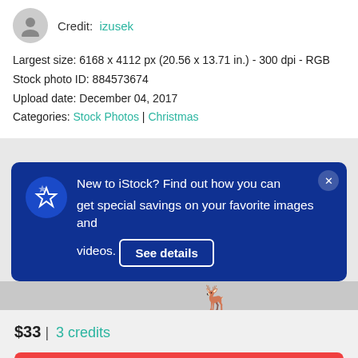Credit: izusek
Largest size: 6168 x 4112 px (20.56 x 13.71 in.) - 300 dpi - RGB
Stock photo ID: 884573674
Upload date: December 04, 2017
Categories: Stock Photos | Christmas
New to iStock? Find out how you can get special savings on your favorite images and videos.
See details
$33 | 3 credits
Continue with purchase